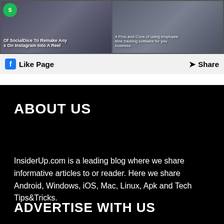[Figure (screenshot): Facebook page widget showing two article thumbnails with Like Page and Share buttons at the bottom. Left image shows SocialDice article about remaking Instagram posts into a Reel. Right image shows article about Pros and Cons of using employee time tracking software.]
ABOUT US
InsiderUp.com is a leading blog where we share informative articles to or reader. Here we share Android, Windows, iOS, Mac, Linux, Apk and Tech Tips&Tricks.
ADVERTISE WITH US